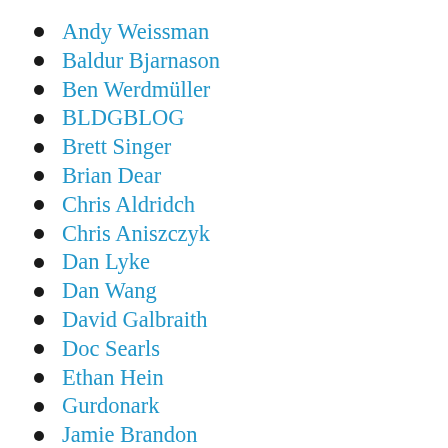Andy Weissman
Baldur Bjarnason
Ben Werdmüller
BLDGBLOG
Brett Singer
Brian Dear
Chris Aldridch
Chris Aniszczyk
Dan Lyke
Dan Wang
David Galbraith
Doc Searls
Ethan Hein
Gurdonark
Jamie Brandon
Jim Baumgardner